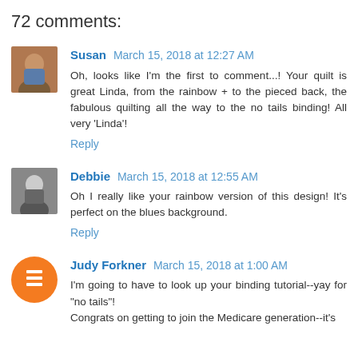72 comments:
Susan March 15, 2018 at 12:27 AM
Oh, looks like I'm the first to comment...! Your quilt is great Linda, from the rainbow + to the pieced back, the fabulous quilting all the way to the no tails binding! All very 'Linda'!
Reply
Debbie March 15, 2018 at 12:55 AM
Oh I really like your rainbow version of this design! It's perfect on the blues background.
Reply
Judy Forkner March 15, 2018 at 1:00 AM
I'm going to have to look up your binding tutorial--yay for "no tails"!
Congrats on getting to join the Medicare generation--it's